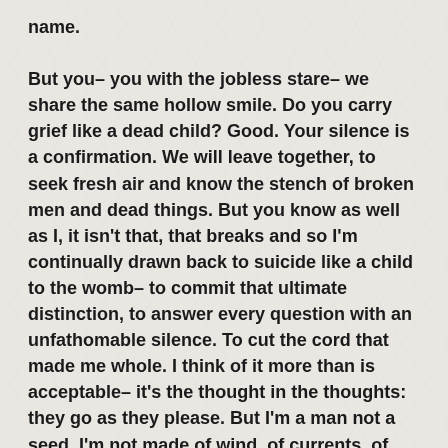name.
But you– you with the jobless stare– we share the same hollow smile. Do you carry grief like a dead child? Good. Your silence is a confirmation. We will leave together, to seek fresh air and know the stench of broken men and dead things. But you know as well as I, it isn't that, that breaks and so I'm continually drawn back to suicide like a child to the womb– to commit that ultimate distinction, to answer every question with an unfathomable silence. To cut the cord that made me whole. I think of it more than is acceptable– it's the thought in the thoughts: they go as they please. But I'm a man not a seed, I'm not made of wind, of currents, of dead leaves– please I have my bones, my day saver, my Smiths' CDs.
But what is a man I ask you, but a ghost haunting